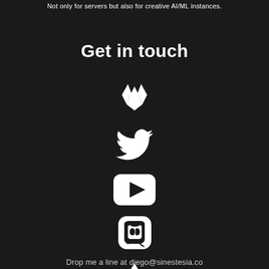Not only for servers but also for creative AI/ML instances.
Get in touch
[Figure (logo): GitLab logo - white fox/diamond shape icon]
[Figure (logo): Twitter bird logo - white bird silhouette]
[Figure (logo): YouTube logo - white rounded rectangle with play triangle]
[Figure (logo): Mastodon logo - white rounded square with elephant trunk icon]
[Figure (logo): ArtStation logo - white triangular layered mountain shape]
Drop me a line at diego@sinestesia.co